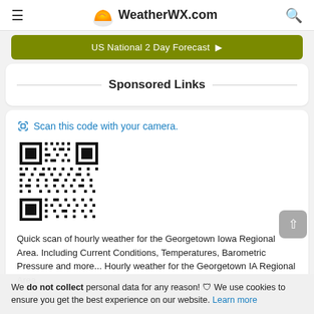WeatherWX.com
US National 2 Day Forecast ▶
Sponsored Links
📷 Scan this code with your camera.
[Figure (other): QR code for Georgetown Iowa Regional Area hourly weather]
Quick scan of hourly weather for the Georgetown Iowa Regional Area. Including Current Conditions, Temperatures, Barometric Pressure and more... Hourly weather for the Georgetown IA Regional Area.
We do not collect personal data for any reason! 🛡 We use cookies to ensure you get the best experience on our website. Learn more